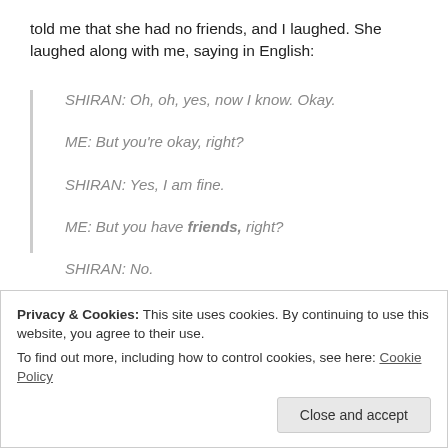told me that she had no friends, and I laughed. She laughed along with me, saying in English:
SHIRAN: Oh, oh, yes, now I know. Okay.
ME: But you're okay, right?
SHIRAN: Yes, I am fine.
ME: But you have friends, right?
SHIRAN: No.
Privacy & Cookies: This site uses cookies. By continuing to use this website, you agree to their use.
To find out more, including how to control cookies, see here: Cookie Policy
Close and accept